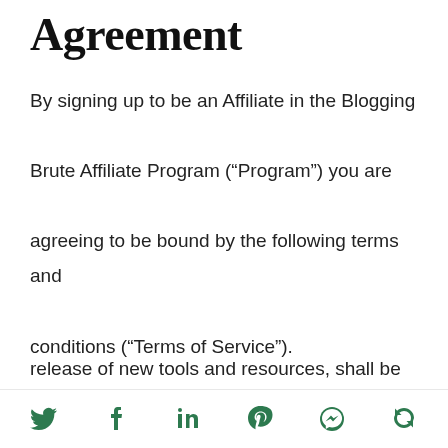Agreement
By signing up to be an Affiliate in the Blogging Brute Affiliate Program (“Program”) you are agreeing to be bound by the following terms and conditions (“Terms of Service”).
Blogging Brute reserves the right to update and change the Terms of Service from time to time without notice. Any new features that augment or enhance the current Program, including the release of new tools and resources, shall be
Social share icons: Twitter, Facebook, LinkedIn, Pinterest, Messenger, Refresh